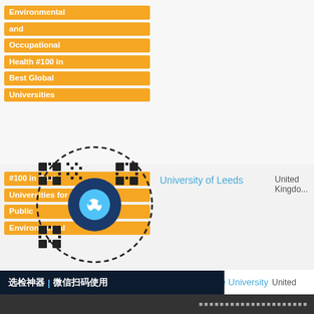| Ranking/Badge | University Name | Country |
| --- | --- | --- |
| Environmental and Occupational Health #100 in Best Global Universities |  |  |
| #100 in Best Universities for Public Environmental and Occupational Health #280 in Best Global Universities | University at Buffalo--SUNY | United |
| #100 in Best Universities for Public Environmental and Occupational Health ... | University of Leeds | United Kingdom |
| ... | Washington State University | United |
[Figure (other): QR code overlay with circular dashed border and blue center circle with WeChat mini-program icon, with label bar reading '选检神器 | 微信扫码使用']